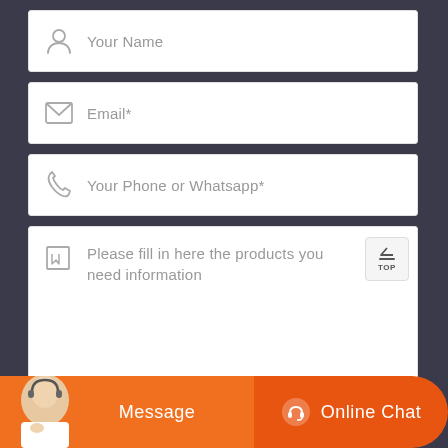[Figure (other): Contact form with four input fields: Your Name, Email*, Your Phone or Whatsapp*, and a message textarea. Bottom bar with Message and Online Chat buttons with customer service avatar.]
Your Name
Email*
Your Phone or Whatsapp*
Please fill in here the products you need information
TOP
Message
Online Chat